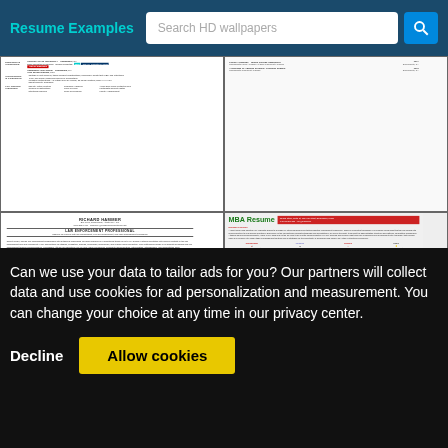Resume Examples | Search HD wallpapers
[Figure (screenshot): Four resume example thumbnails: top-left shows a security/police resume with Education & Credentials section highlighted in teal; top-right shows a police academy resume; bottom-left shows a Law Enforcement Professional resume for Richard Hammer; bottom-right shows an MBA Resume with colored sections.]
Can we use your data to tailor ads for you? Our partners will collect data and use cookies for ad personalization and measurement. You can change your choice at any time in our privacy center.
Decline
Allow cookies